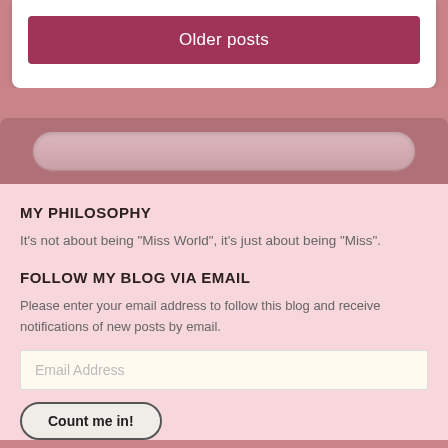Older posts
[Figure (other): Search bar input field with rounded pill shape on a pink/mauve background panel]
MY PHILOSOPHY
It's not about being "Miss World", it's just about being "Miss".
FOLLOW MY BLOG VIA EMAIL
Please enter your email address to follow this blog and receive notifications of new posts by email.
Email Address
Count me in!
Join 334 other followers